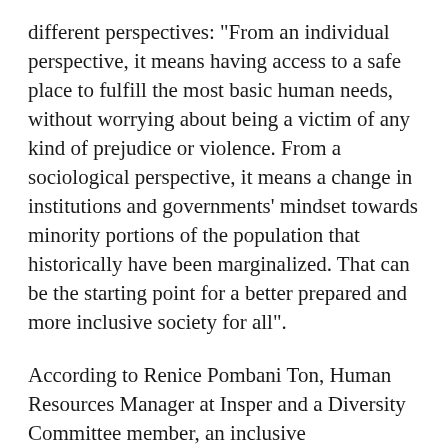different perspectives: "From an individual perspective, it means having access to a safe place to fulfill the most basic human needs, without worrying about being a victim of any kind of prejudice or violence. From a sociological perspective, it means a change in institutions and governments' mindset towards minority portions of the population that historically have been marginalized. That can be the starting point for a better prepared and more inclusive society for all".
According to Renice Pombani Ton, Human Resources Manager at Insper and a Diversity Committee member, an inclusive organizational culture is positive for every company or institution that wants to be sustainable. "The promotion of diversity increases team creativity and community